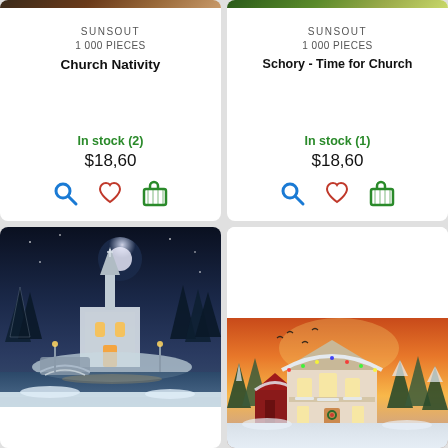[Figure (photo): Top portion of puzzle product card - Church Nativity image cropped at top]
SUNSOUT
1 000 PIECES
Church Nativity
In stock (2)
$18,60
[Figure (photo): Top portion of puzzle product card - Schory Time for Church image cropped at top]
SUNSOUT
1 000 PIECES
Schory - Time for Church
In stock (1)
$18,60
[Figure (photo): Winter night scene with illuminated church, snow-covered trees, bridge over stream, moonlit sky]
[Figure (photo): Christmas scene with snowy Victorian house, colorful sunset sky, red barn, snow-covered trees]